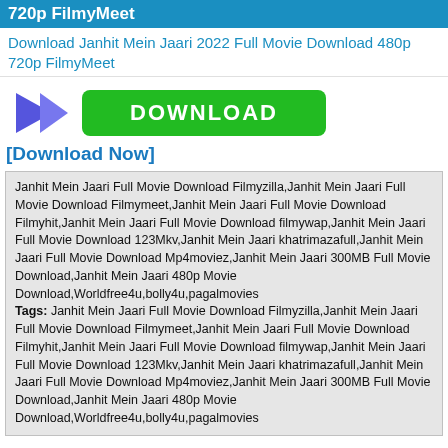720p FilmyMeet
Download Janhit Mein Jaari 2022 Full Movie Download 480p 720p FilmyMeet
[Figure (other): Blue arrow pointing right next to a green DOWNLOAD button]
[Download Now]
Janhit Mein Jaari Full Movie Download Filmyzilla,Janhit Mein Jaari Full Movie Download Filmymeet,Janhit Mein Jaari Full Movie Download Filmyhit,Janhit Mein Jaari Full Movie Download filmywap,Janhit Mein Jaari Full Movie Download 123Mkv,Janhit Mein Jaari khatrimazafull,Janhit Mein Jaari Full Movie Download Mp4moviez,Janhit Mein Jaari 300MB Full Movie Download,Janhit Mein Jaari 480p Movie Download,Worldfree4u,bolly4u,pagalmovies Tags: Janhit Mein Jaari Full Movie Download Filmyzilla,Janhit Mein Jaari Full Movie Download Filmymeet,Janhit Mein Jaari Full Movie Download Filmyhit,Janhit Mein Jaari Full Movie Download filmywap,Janhit Mein Jaari Full Movie Download 123Mkv,Janhit Mein Jaari khatrimazafull,Janhit Mein Jaari Full Movie Download Mp4moviez,Janhit Mein Jaari 300MB Full Movie Download,Janhit Mein Jaari 480p Movie Download,Worldfree4u,bolly4u,pagalmovies
[Figure (other): Blue arrow pointing right next to a green DOWNLOAD button]
[Download Now]
Related Movies
Dabangg 2010 Full Movie Download FilmyMeet (BlueRay)